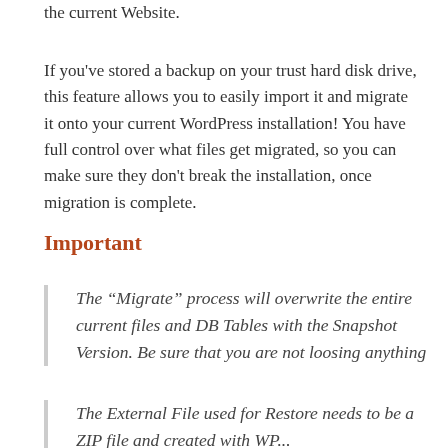the current Website.
If you've stored a backup on your trust hard disk drive, this feature allows you to easily import it and migrate it onto your current WordPress installation! You have full control over what files get migrated, so you can make sure they don't break the installation, once migration is complete.
Important
The “Migrate” process will overwrite the entire current files and DB Tables with the Snapshot Version. Be sure that you are not loosing anything
The External File used for Restore needs to be a ZIP file and created with WP...